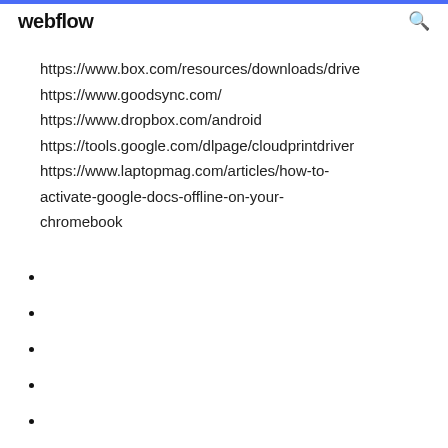webflow
https://www.box.com/resources/downloads/drive
https://www.goodsync.com/
https://www.dropbox.com/android
https://tools.google.com/dlpage/cloudprintdriver
https://www.laptopmag.com/articles/how-to-activate-google-docs-offline-on-your-chromebook